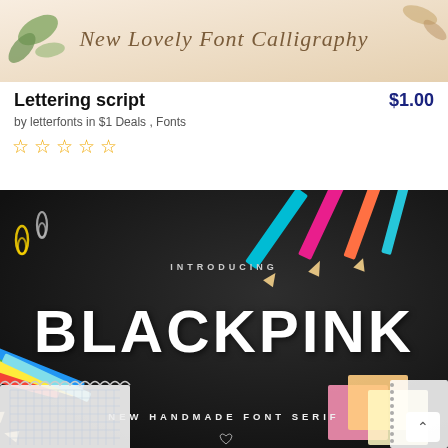[Figure (illustration): Calligraphy font preview banner with cursive text 'New Lovely Font Calligraphy' on a light beige/peach background with decorative leaves]
Lettering script
$1.00
by letterfonts in $1 Deals , Fonts
★★★★★ (star rating, empty)
[Figure (illustration): Dark chalkboard background with colorful pencils, paperclips, notebooks. Text reads: INTRODUCING / BLACKPINK / NEW HANDMADE FONT SERIF]